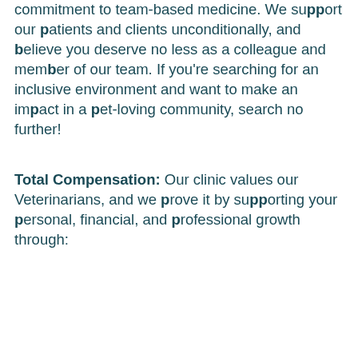commitment to team-based medicine. We support our patients and clients unconditionally, and believe you deserve no less as a colleague and member of our team. If you're searching for an inclusive environment and want to make an impact in a pet-loving community, search no further!
Total Compensation: Our clinic values our Veterinarians, and we prove it by supporting your personal, financial, and professional growth through: